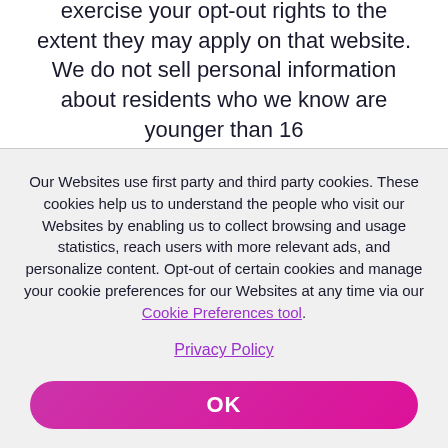exercise your opt-out rights to the extent they may apply on that website. We do not sell personal information about residents who we know are younger than 16
Our Websites use first party and third party cookies. These cookies help us to understand the people who visit our Websites by enabling us to collect browsing and usage statistics, reach users with more relevant ads, and personalize content. Opt-out of certain cookies and manage your cookie preferences for our Websites at any time via our Cookie Preferences tool.
Privacy Policy
OK